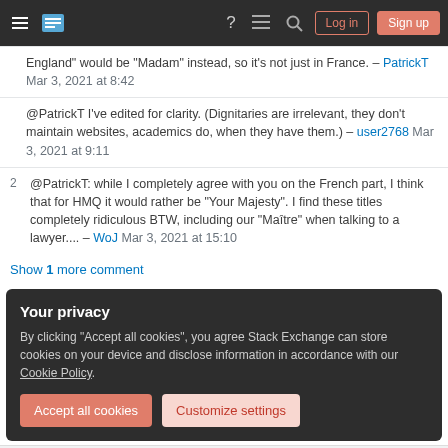Stack Exchange navigation bar with hamburger menu, logo, help, chat, search icons, Log in and Sign up buttons
England" would be "Madam" instead, so it's not just in France. – PatrickT Mar 3, 2021 at 8:42
@PatrickT I've edited for clarity. (Dignitaries are irrelevant, they don't maintain websites, academics do, when they have them.) – user2768 Mar 3, 2021 at 9:11
2 @PatrickT: while I completely agree with you on the French part, I think that for HMQ it would rather be "Your Majesty". I find these titles completely ridiculous BTW, including our "Maître" when talking to a lawyer.... – WoJ Mar 3, 2021 at 15:10
Show 1 more comment
Your privacy
By clicking "Accept all cookies", you agree Stack Exchange can store cookies on your device and disclose information in accordance with our Cookie Policy.
Accept all cookies | Customize settings
Featured on Meta